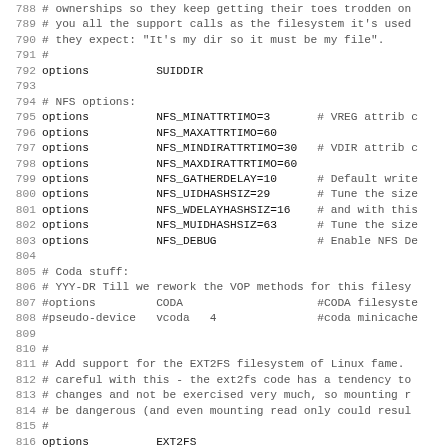Source code / configuration file excerpt, lines 788-819, showing kernel configuration options including SUIDDIR, NFS options, Coda stuff, EXT2FS, and aio system calls.